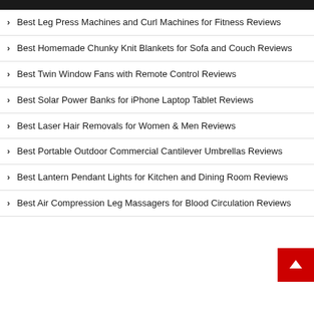Best Leg Press Machines and Curl Machines for Fitness Reviews
Best Homemade Chunky Knit Blankets for Sofa and Couch Reviews
Best Twin Window Fans with Remote Control Reviews
Best Solar Power Banks for iPhone Laptop Tablet Reviews
Best Laser Hair Removals for Women & Men Reviews
Best Portable Outdoor Commercial Cantilever Umbrellas Reviews
Best Lantern Pendant Lights for Kitchen and Dining Room Reviews
Best Air Compression Leg Massagers for Blood Circulation Reviews